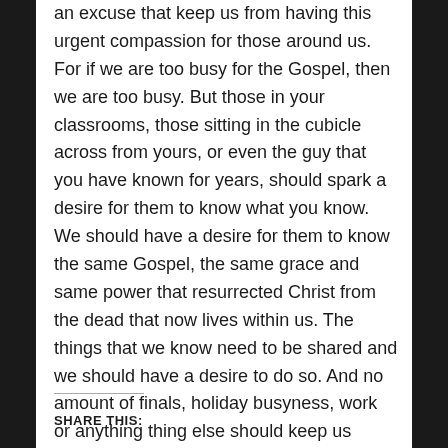an excuse that keep us from having this urgent compassion for those around us. For if we are too busy for the Gospel, then we are too busy. But those in your classrooms, those sitting in the cubicle across from yours, or even the guy that you have known for years, should spark a desire for them to know what you know. We should have a desire for them to know the same Gospel, the same grace and same power that resurrected Christ from the dead that now lives within us. The things that we know need to be shared and we should have a desire to do so. And no amount of finals, holiday busyness, work or anything thing else should keep us distracted from this desire.
SHARE THIS: